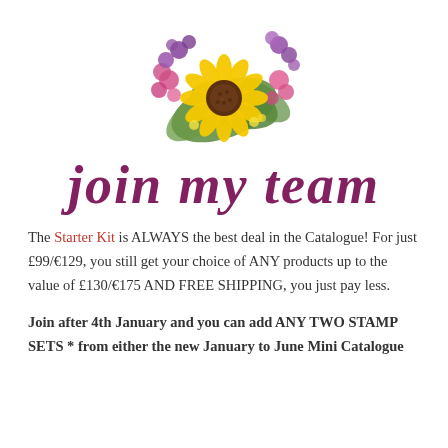[Figure (illustration): Watercolor floral bouquet with a sunflower in the center, pink/purple wildflowers, and green leaves]
join my team
The Starter Kit is ALWAYS the best deal in the Catalogue! For just £99/€129, you still get your choice of ANY products up to the value of £130/€175 AND FREE SHIPPING, you just pay less.
Join after 4th January and you can add ANY TWO STAMP SETS * from either the new January to June Mini Catalogue